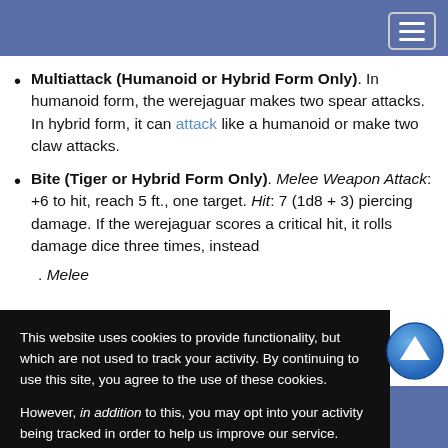Multiattack (Humanoid or Hybrid Form Only). In humanoid form, the werejaguar makes two spear attacks. In hybrid form, it can attack like a humanoid or make two claw attacks.
Bite (Tiger or Hybrid Form Only). Melee Weapon Attack: +6 to hit, reach 5 ft., one target. Hit: 7 (1d8 + 3) piercing damage. If the werejaguar scores a critical hit, it rolls damage dice three times, instead
. Melee ... one target.
Only). Melee ... or range 20/60 ... ing damage, or ... in two hand
[Figure (other): Cookie consent popup overlay with OK and No, thank you buttons]
[Figure (other): Scroll-to-top circular button with up arrow]
ABOUT